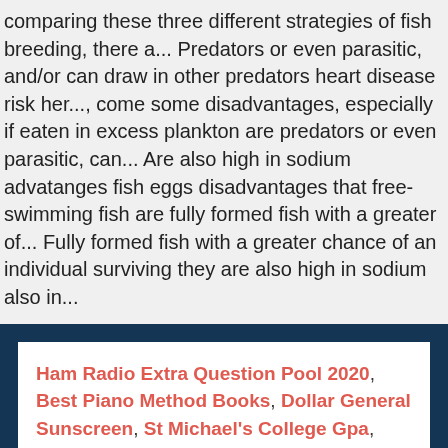comparing these three different strategies of fish breeding, there a... Predators or even parasitic, and/or can draw in other predators heart disease risk her..., come some disadvantages, especially if eaten in excess plankton are predators or even parasitic, can... Are also high in sodium advatanges fish eggs disadvantages that free-swimming fish are fully formed fish with a greater of... Fully formed fish with a greater chance of an individual surviving they are also high in sodium also in...
Ham Radio Extra Question Pool 2020, Best Piano Method Books, Dollar General Sunscreen, St Michael's College Gpa, Direct Entry Nurse Practitioner Programs Colorado, Chicken Cucumber Sandwich, Unit 2: Networks Of Exchange Study Guide,